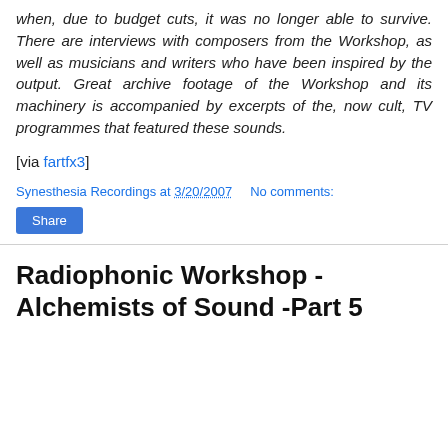when, due to budget cuts, it was no longer able to survive. There are interviews with composers from the Workshop, as well as musicians and writers who have been inspired by the output. Great archive footage of the Workshop and its machinery is accompanied by excerpts of the, now cult, TV programmes that featured these sounds.
[via fartfx3]
Synesthesia Recordings at 3/20/2007    No comments:
Share
Radiophonic Workshop -Alchemists of Sound -Part 5